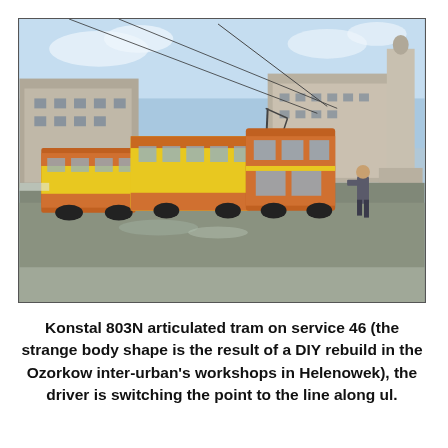[Figure (photo): Outdoor photograph of a Konstal 803N articulated tram in yellow and orange livery on a city square in winter. The tram is a three-section articulated vehicle with yellow panels and orange/brown ends. Overhead wires and pantograph visible. City buildings and a monument visible in background. A person stands to the right of the tram. The square surface is wet/icy. Bright winter sunshine and blue sky.]
Konstal 803N articulated tram on service 46 (the strange body shape is the result of a DIY rebuild in the Ozorkow inter-urban's workshops in Helenowek), the driver is switching the point to the line along ul.